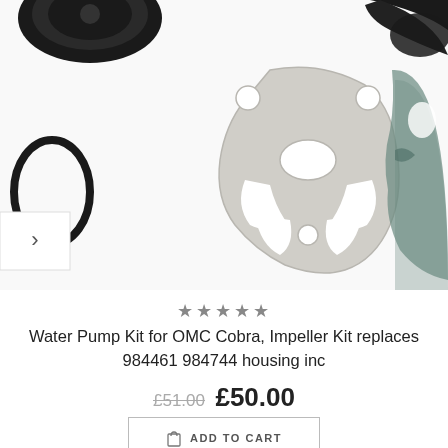[Figure (photo): Product photo showing water pump kit parts: metal impeller plate, rubber gaskets, o-ring seal, displayed on white background. Navigation arrow visible on left side.]
★★★★★
Water Pump Kit for OMC Cobra, Impeller Kit replaces 984461 984744 housing inc
£51.00  £50.00
ADD TO CART